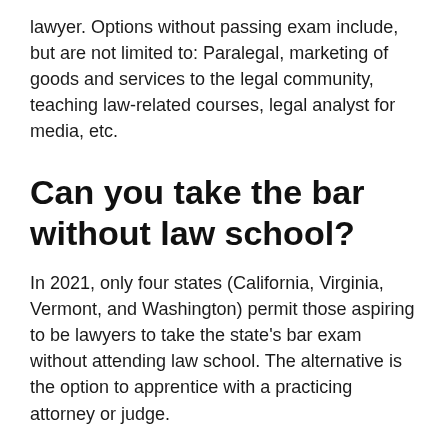lawyer. Options without passing exam include, but are not limited to: Paralegal, marketing of goods and services to the legal community, teaching law-related courses, legal analyst for media, etc.
Can you take the bar without law school?
In 2021, only four states (California, Virginia, Vermont, and Washington) permit those aspiring to be lawyers to take the state's bar exam without attending law school. The alternative is the option to apprentice with a practicing attorney or judge.